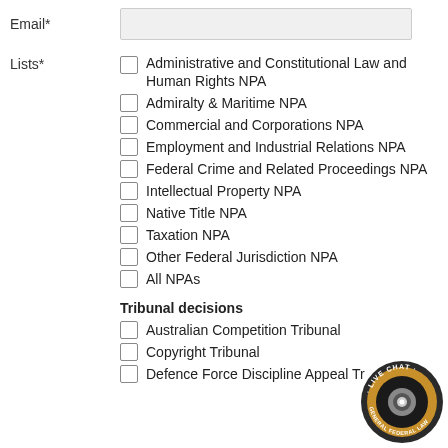Email*
Administrative and Constitutional Law and Human Rights NPA
Admiralty & Maritime NPA
Commercial and Corporations NPA
Employment and Industrial Relations NPA
Federal Crime and Related Proceedings NPA
Intellectual Property NPA
Native Title NPA
Taxation NPA
Other Federal Jurisdiction NPA
All NPAs
Tribunal decisions
Australian Competition Tribunal
Copyright Tribunal
Defence Force Discipline Appeal Tr...
[Figure (logo): Live Chat circular badge logo - General Federal Law]